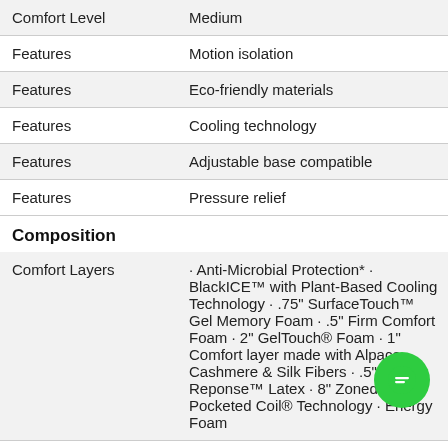|  |  |
| --- | --- |
| Comfort Level | Medium |
| Features | Motion isolation |
| Features | Eco-friendly materials |
| Features | Cooling technology |
| Features | Adjustable base compatible |
| Features | Pressure relief |
Composition
|  |  |
| --- | --- |
| Comfort Layers | · Anti-Microbial Protection* · BlackICE™ with Plant-Based Cooling Technology · .75" SurfaceTouch™ Gel Memory Foam · .5" Firm Comfort Foam · 2" GelTouch® Foam · 1" Comfort layer made with Alpaca, Cashmere & Silk Fibers · .5" Self-Reponse™ Latex · 8" Zoned T3 Pocketed Coil® Technology · Energy Foam |
Construction